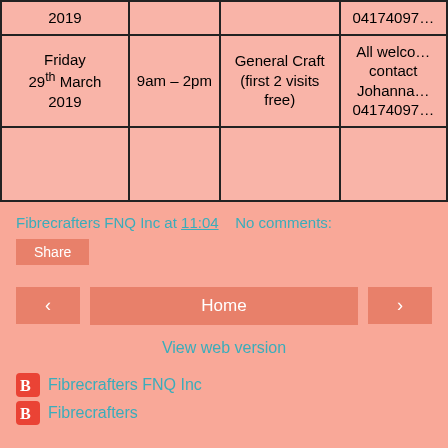| Day/Date | Time | Activity | Contact |
| --- | --- | --- | --- |
| 2019 |  |  | 04174097... |
| Friday 29th March 2019 | 9am – 2pm | General Craft (first 2 visits free) | All welcome contact Johanna 04174097... |
|  |  |  |  |
Fibrecrafters FNQ Inc at 11:04   No comments:
Share
‹   Home   ›
View web version
Fibrecrafters FNQ Inc
Fibrecrafters
Powered by Blogger.